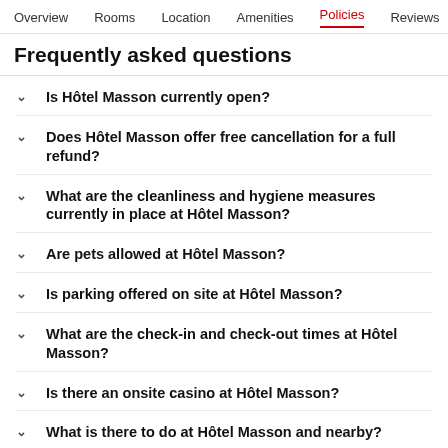Overview  Rooms  Location  Amenities  Policies  Reviews
Frequently asked questions
Is Hôtel Masson currently open?
Does Hôtel Masson offer free cancellation for a full refund?
What are the cleanliness and hygiene measures currently in place at Hôtel Masson?
Are pets allowed at Hôtel Masson?
Is parking offered on site at Hôtel Masson?
What are the check-in and check-out times at Hôtel Masson?
Is there an onsite casino at Hôtel Masson?
What is there to do at Hôtel Masson and nearby?
Are there restaurants at or near Hôtel Masson?